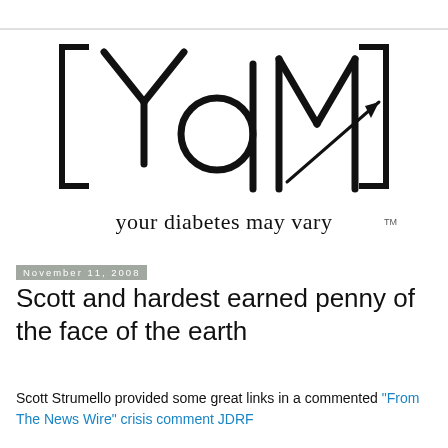[Figure (logo): Your Diabetes May Vary logo — stylized letters YdM with bracket marks and an upward-trending line/arrow, with tagline 'your diabetes may vary' and TM mark]
November 11, 2008
Scott and hardest earned penny of the face of the earth
Scott Strumello provided some great links in a commented "From The News Wire" crisis comment JDRF